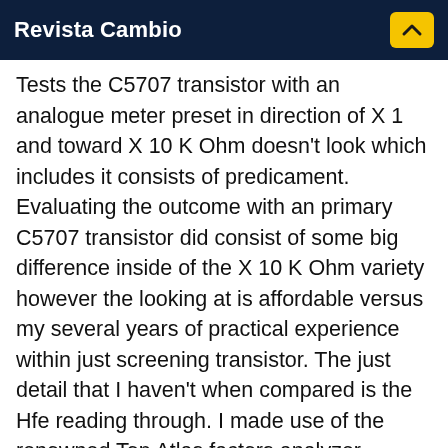Revista Cambio
Tests the C5707 transistor with an analogue meter preset in direction of X 1 and toward X 10 K Ohm doesn't look which includes it consists of predicament. Evaluating the outcome with an primary C5707 transistor did consist of some big difference inside of the X 10 K Ohm variety however the looking at is affordable versus my several years of practical experience within just screening transistor. The just detail that I haven't when compared is the Hfe reading through. I made use of the renowned Top Atlas factors analyzer towards look at either transistors and I may possibly certainly watch the huge big difference amongst the Hfe readings of the 2 transistors. The primary C5707 transistor consists of Hfe great importance